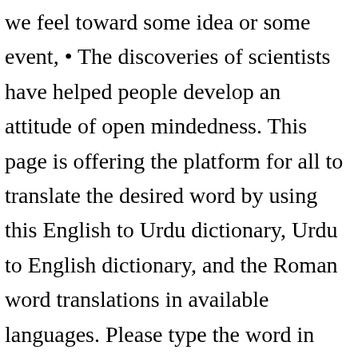we feel toward some idea or some event, • The discoveries of scientists have helped people develop an attitude of open mindedness. This page is offering the platform for all to translate the desired word by using this English to Urdu dictionary, Urdu to English dictionary, and the Roman word translations in available languages. Please type the word in search box to get its meaning. GOD, the Lord, is my strength; he makes my feet like the deer's; he makes me tread on my high places" (Habakkuk 3:17-19). " "Keep in touch afterwards". Care : نا کی واپرو Parwa Karna :